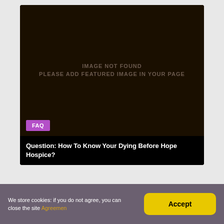[Figure (screenshot): Dark brown image placeholder card showing 'IMAGE NOT FOUND / PLEASE ADD FEATURED IMAGE IN YOUR PAGE' text in muted brown uppercase letters on a very dark brown background]
FAQ
Question: How To Know Your Dying Before Hope Hospice?
We store cookies: if you do not agree, you can close the site Agreemen
Accept